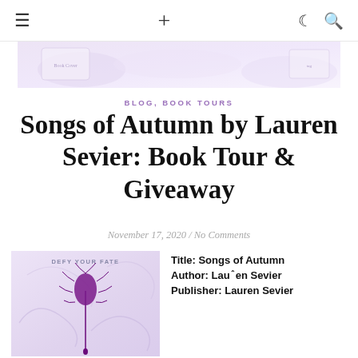≡  +  ☾ 🔍
[Figure (illustration): Banner image with light purple floral/decorative background for book tour]
BLOG, BOOK TOURS
Songs of Autumn by Lauren Sevier: Book Tour & Giveaway
November 17, 2020 / No Comments
[Figure (illustration): Book cover of Songs of Autumn by Lauren Sevier showing a purple thistle on a light lavender decorative background with text 'DEFY YOUR FATE' at the top]
Title: Songs of Autumn
Author: Lauren Sevier
Publisher: Lauren Sevier